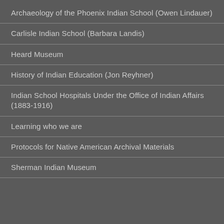Archaeology of the Phoenix Indian School (Owen Lindauer)
Carlisle Indian School (Barbara Landis)
Heard Museum
History of Indian Education (Jon Reyhner)
Indian School Hospitals Under the Office of Indian Affairs (1883-1916)
Learning who we are
Protocols for Native American Archival Materials
Sherman Indian Museum